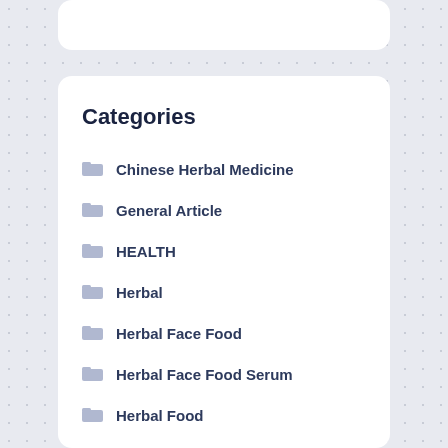Categories
Chinese Herbal Medicine
General Article
HEALTH
Herbal
Herbal Face Food
Herbal Face Food Serum
Herbal Food
herbal food
Herbal Food Store